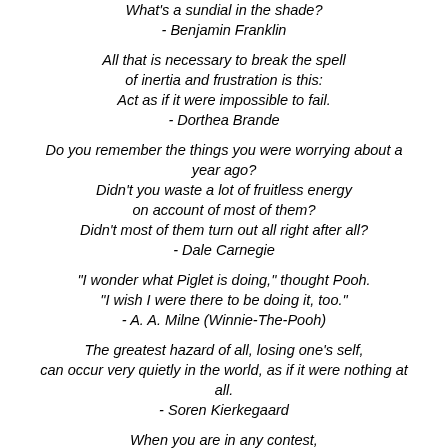What's a sundial in the shade? - Benjamin Franklin
All that is necessary to break the spell of inertia and frustration is this: Act as if it were impossible to fail. - Dorthea Brande
Do you remember the things you were worrying about a year ago? Didn't you waste a lot of fruitless energy on account of most of them? Didn't most of them turn out all right after all? - Dale Carnegie
"I wonder what Piglet is doing," thought Pooh. "I wish I were there to be doing it, too." - A. A. Milne (Winnie-The-Pooh)
The greatest hazard of all, losing one's self, can occur very quietly in the world, as if it were nothing at all. - Soren Kierkegaard
When you are in any contest, you should work as if there were -